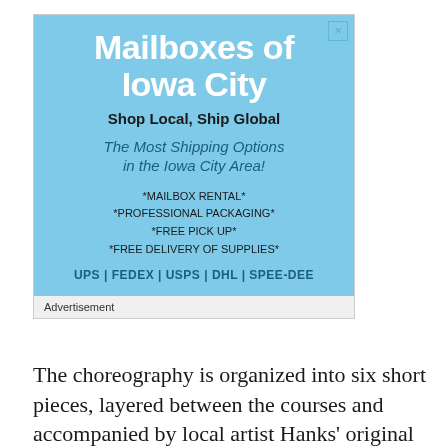[Figure (illustration): Advertisement for Mailboxes of Iowa City. Light blue background with white bold title 'Mailboxes of Iowa City', tagline 'Shop Local, Ship Global', shipping options text, list of services with asterisks, and carrier logos UPS, FEDEX, USPS, DHL, SPEE-DEE. Close button (X) in top right corner. Footer reads 'Advertisement'.]
The choreography is organized into six short pieces, layered between the courses and accompanied by local artist Hanks' original score. Each course will reflect a different part of the spaceship on which the